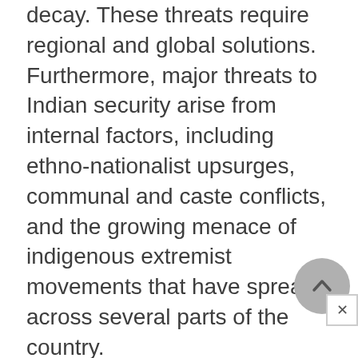decay. These threats require regional and global solutions. Furthermore, major threats to Indian security arise from internal factors, including ethno-nationalist upsurges, communal and caste conflicts, and the growing menace of indigenous extremist movements that have spread across several parts of the country.